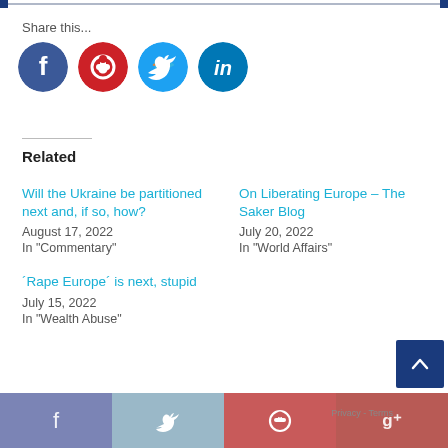Share this...
[Figure (illustration): Four social media share buttons: Facebook (dark blue circle), Pinterest (red circle), Twitter (light blue circle), LinkedIn (dark cyan circle)]
Related
Will the Ukraine be partitioned next and, if so, how?
August 17, 2022
In "Commentary"
On Liberating Europe – The Saker Blog
July 20, 2022
In "World Affairs"
´Rape Europe´ is next, stupid
July 15, 2022
In "Wealth Abuse"
[Figure (illustration): Bottom share bar with four colored buttons: Facebook (medium blue-purple), Twitter (muted sky blue), Pinterest (red), Google+ (muted red). Partially visible scroll-to-top button (dark blue) with up arrow at bottom right.]